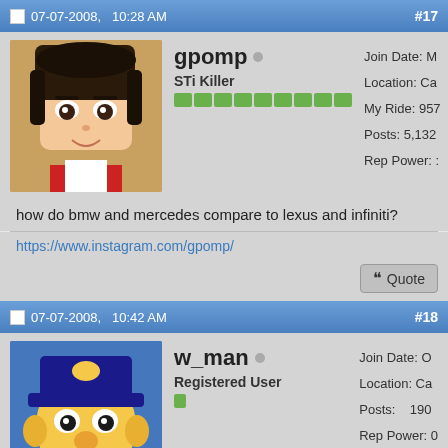07-07-2008, 10:28 AM  #17
gpomp o
STi Killer
[rep bar]
Join Date: M
Location: Ca
My Ride: 957
Posts: 5,132
Rep Power: :
how do bmw and mercedes compare to lexus and infiniti?
https://www.instagram.com/gpomp/
Quote
07-07-2008, 10:42 AM  #18
w_man o
Registered User
[rep bar]
Join Date: O
Location: Ca
Posts: 190
Rep Power: 0
Hyatt Infiniti sucks!! Their sales people are crooks and their